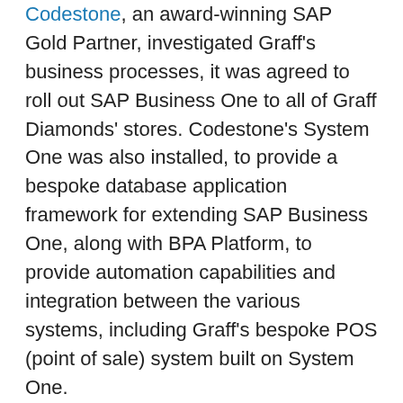Codestone, an award-winning SAP Gold Partner, investigated Graff's business processes, it was agreed to roll out SAP Business One to all of Graff Diamonds' stores. Codestone's System One was also installed, to provide a bespoke database application framework for extending SAP Business One, along with BPA Platform, to provide automation capabilities and integration between the various systems, including Graff's bespoke POS (point of sale) system built on System One.
“We’ve got dozens of SAP Business One companies for all the entities around the world, with System One sitting on top of all of them. The handy thing about BPA Platform is that it dips in and out of both System One and SAP Business One – collating and reporting on them simultaneously. Essentially, it does a lot of work that would normally require a user to sit there and perform huge query extractions in one system and then another,” explained Malcolm MacLean. “We have our own POS system, that